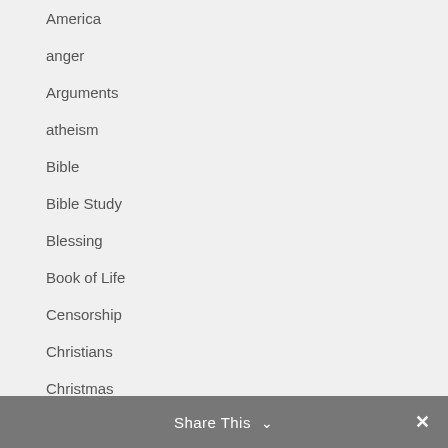America
anger
Arguments
atheism
Bible
Bible Study
Blessing
Book of Life
Censorship
Christians
Christmas
Church
Church closing
Comfort
Comfort for grieving
Share This ∨  ✕